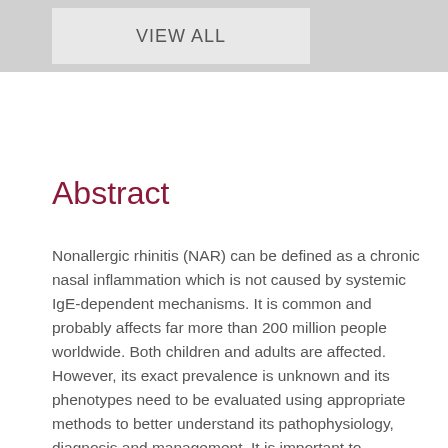VIEW ALL
Abstract
Nonallergic rhinitis (NAR) can be defined as a chronic nasal inflammation which is not caused by systemic IgE-dependent mechanisms. It is common and probably affects far more than 200 million people worldwide. Both children and adults are affected. However, its exact prevalence is unknown and its phenotypes need to be evaluated using appropriate methods to better understand its pathophysiology, diagnosis and management. It is important to differentiate between infectious rhinitis, allergic/NAR and chronic rhinosinusitis, as management differs for each of these cases. Characterization of the phenotype,